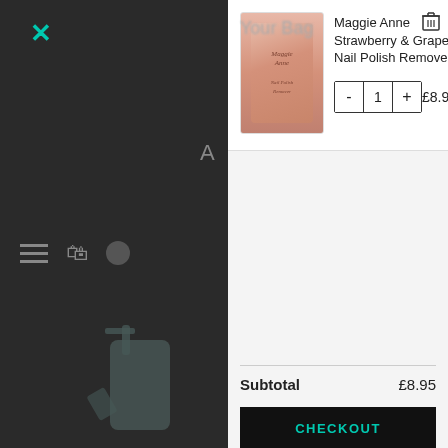[Figure (screenshot): Shopping cart modal overlay on an e-commerce website showing a Maggie Anne Strawberry & Grape Nail Polish Remover with quantity controls, price, subtotal, checkout button, and continue shopping link.]
Maggie Anne Strawberry & Grape Nail Polish Remover
- 1 + £8.95
Subtotal £8.95
CHECKOUT
CONTINUE SHOPPING